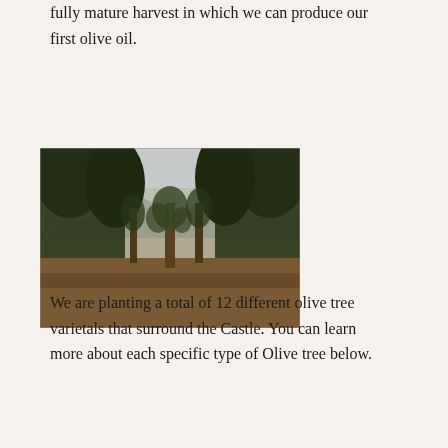fully mature harvest in which we can produce our first olive oil.
[Figure (photo): Outdoor photograph showing a row of trees in a field or orchard, with mountains visible in the background under an overcast sky. The foreground shows bare soil/ground. A young or bare tree is visible in the center.]
We are planting a total of 12 different olive tree varietals that surround the Castle. You can learn more about each specific type of Olive tree below.